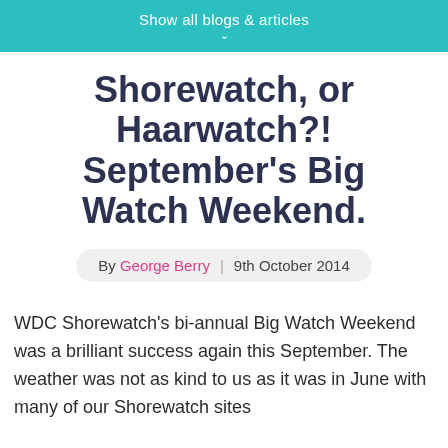Show all blogs & articles
Shorewatch, or Haarwatch?! September's Big Watch Weekend.
By George Berry | 9th October 2014
WDC Shorewatch's bi-annual Big Watch Weekend was a brilliant success again this September. The weather was not as kind to us as it was in June with many of our Shorewatch sites